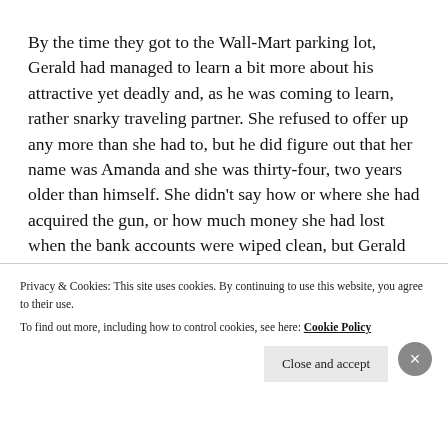By the time they got to the Wall-Mart parking lot, Gerald had managed to learn a bit more about his attractive yet deadly and, as he was coming to learn, rather snarky traveling partner. She refused to offer up any more than she had to, but he did figure out that her name was Amanda and she was thirty-four, two years older than himself. She didn’t say how or where she had acquired the gun, or how much money she had lost when the bank accounts were wiped clean, but Gerald suspected it was a lot. She carried herself like someone with money.
Privacy & Cookies: This site uses cookies. By continuing to use this website, you agree to their use.
To find out more, including how to control cookies, see here: Cookie Policy
Close and accept